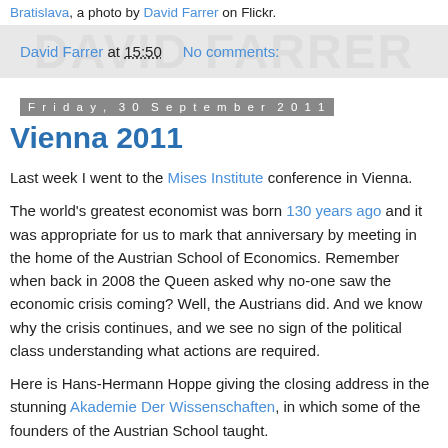Bratislava, a photo by David Farrer on Flickr.
David Farrer at 15:50   No comments:
Friday, 30 September 2011
Vienna 2011
Last week I went to the Mises Institute conference in Vienna.
The world's greatest economist was born 130 years ago and it was appropriate for us to mark that anniversary by meeting in the home of the Austrian School of Economics. Remember when back in 2008 the Queen asked why no-one saw the economic crisis coming? Well, the Austrians did. And we know why the crisis continues, and we see no sign of the political class understanding what actions are required.
Here is Hans-Hermann Hoppe giving the closing address in the stunning Akademie Der Wissenschaften, in which some of the founders of the Austrian School taught.